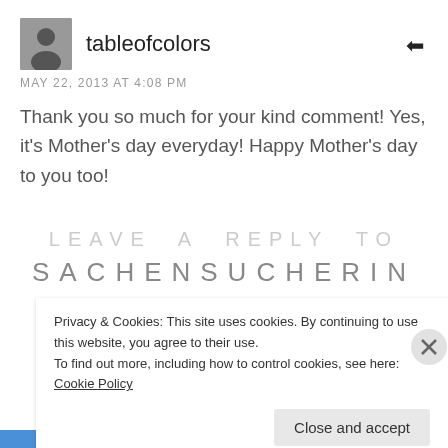[Figure (photo): Small avatar photo of a person, black and white]
tableofcolors
MAY 22, 2013 AT 4:08 PM
Thank you so much for your kind comment! Yes, it's Mother's day everyday! Happy Mother's day to you too!
LEAVE A REPLY TO
SACHENSUCHERIN
Privacy & Cookies: This site uses cookies. By continuing to use this website, you agree to their use.
To find out more, including how to control cookies, see here: Cookie Policy
Close and accept